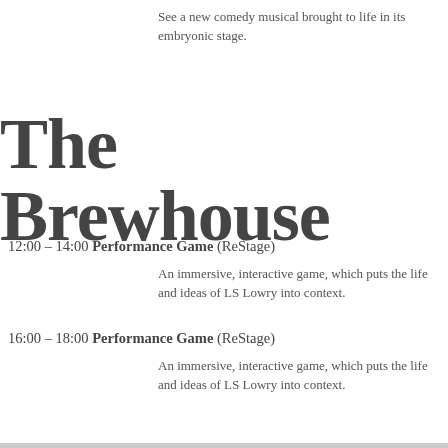See a new comedy musical brought to life in its embryonic stage.
The Brewhouse
12:00 – 14:00 Performance Game (ReStage)
An immersive, interactive game, which puts the life and ideas of LS Lowry into context.
16:00 – 18:00 Performance Game (ReStage)
An immersive, interactive game, which puts the life and ideas of LS Lowry into context.